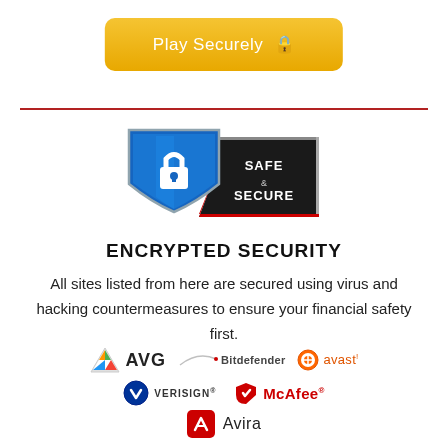[Figure (other): Yellow rounded button labeled 'Play Securely' with a lock icon]
[Figure (other): Safe & Secure badge with blue shield and lock icon on dark background]
ENCRYPTED SECURITY
All sites listed from here are secured using virus and hacking countermeasures to ensure your financial safety first.
[Figure (logo): Security software logos: AVG, Bitdefender, Avast, Verisign, McAfee, Avira]